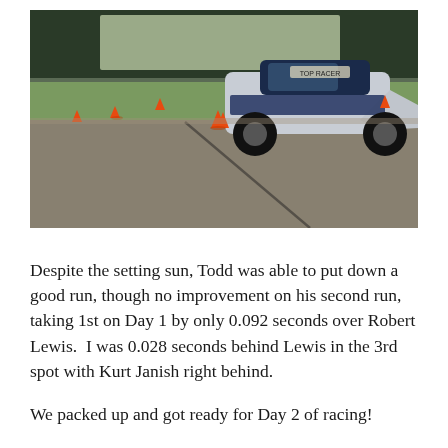[Figure (photo): A white and dark blue racing car navigating through orange cones on a large paved lot during an autocross event. Green grass and trees are visible in the background. The pavement has a dark crack running diagonally. The setting sun casts a warm light.]
Despite the setting sun, Todd was able to put down a good run, though no improvement on his second run, taking 1st on Day 1 by only 0.092 seconds over Robert Lewis.  I was 0.028 seconds behind Lewis in the 3rd spot with Kurt Janish right behind.
We packed up and got ready for Day 2 of racing!